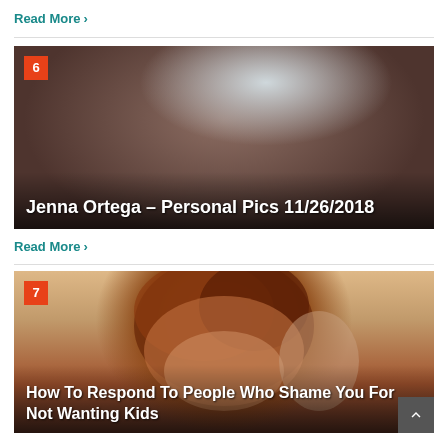Read More >
[Figure (photo): Close-up photo of Jenna Ortega with dark hair, cropped to show eyes and upper face against a light blue-grey background. Overlaid text: numbered badge '6' and title 'Jenna Ortega – Personal Pics 11/26/2018']
Read More >
[Figure (photo): Illustration of a vintage pin-up style woman with red curly hair, posing with hand near her face. Overlaid text: numbered badge '7' and title 'How To Respond To People Who Shame You For Not Wanting Kids']